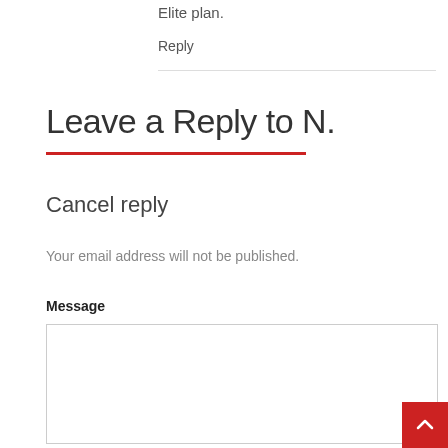Elite plan.
Reply
Leave a Reply to N.
Cancel reply
Your email address will not be published.
Message